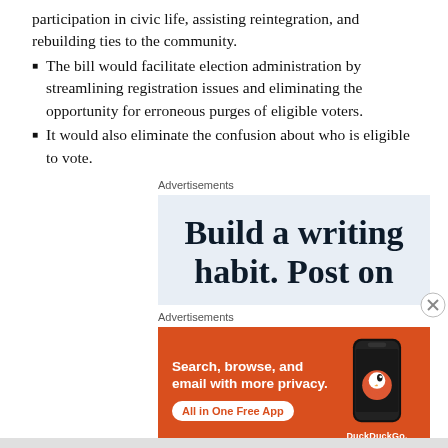participation in civic life, assisting reintegration, and rebuilding ties to the community.
The bill would facilitate election administration by streamlining registration issues and eliminating the opportunity for erroneous purges of eligible voters.
It would also eliminate the confusion about who is eligible to vote.
Advertisements
[Figure (other): Advertisement banner: 'Build a writing habit. Post on' in large serif text on light blue background]
Advertisements
[Figure (other): DuckDuckGo advertisement on orange background: 'Search, browse, and email with more privacy. All in One Free App' with phone graphic and DuckDuckGo logo]